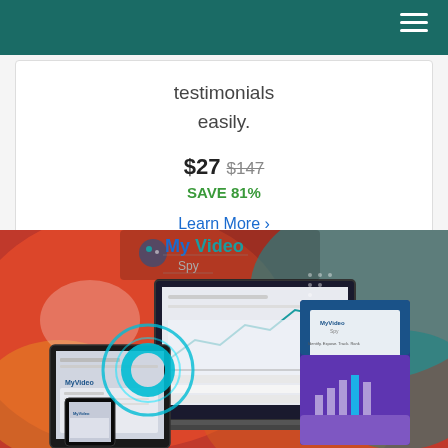Navigation bar with hamburger menu
testimonials
easily.
$27 $147
SAVE 81%
Learn More ›
[Figure (photo): MyVideo Spy product promotional image showing software on multiple devices (laptop, tablet, smartphone) with a box mockup, on a colorful blurred red/blue background. The MyVideo Spy logo with a ghost icon is overlaid at the top.]